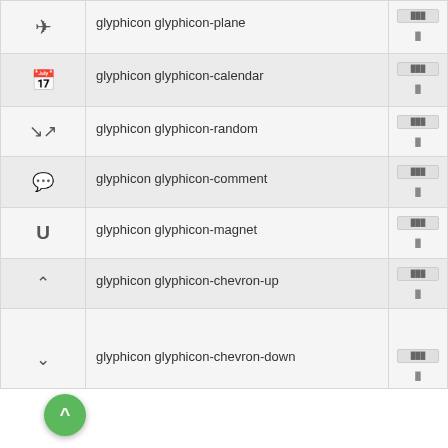| Icon | Class Name | Code |
| --- | --- | --- |
| ✈ | glyphicon glyphicon-plane |  |
| 📅 | glyphicon glyphicon-calendar |  |
| ⇌ | glyphicon glyphicon-random |  |
| 💬 | glyphicon glyphicon-comment |  |
| 🧲 | glyphicon glyphicon-magnet |  |
| ∧ | glyphicon glyphicon-chevron-up |  |
| ∨ | glyphicon glyphicon-chevron-down |  |